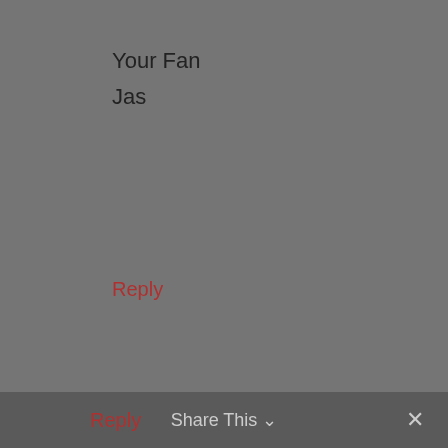Your Fan
Jas
Reply
Hamza Butt
August 27, 2019 at 1:11 pm
Welcome back buddy 😊
Reply   Share This ∨   ×